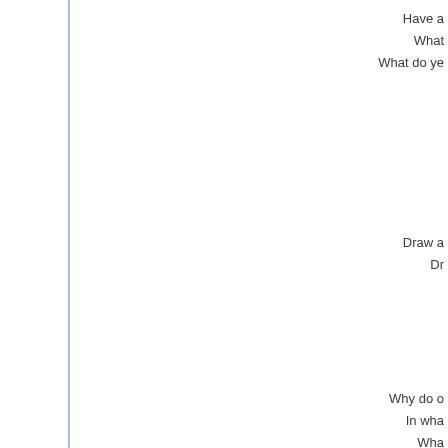Have a...
What...
What do ye...
Draw a...
Dr...
Why do o...
In wha...
Wha...
In the winter he...
How can...
How come...
Could y...
Wha...